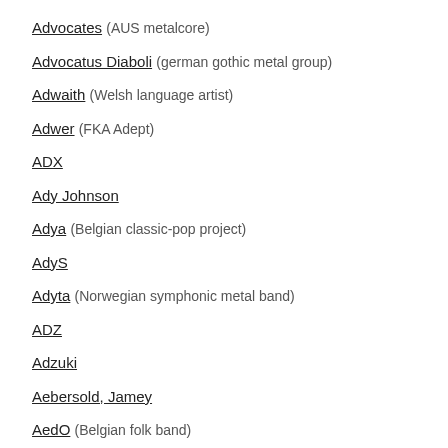Advocates (AUS metalcore)
Advocatus Diaboli (german gothic metal group)
Adwaith (Welsh language artist)
Adwer (FKA Adept)
ADX
Ady Johnson
Adya (Belgian classic-pop project)
AdyS
Adyta (Norwegian symphonic metal band)
ADZ
Adzuki
Aebersold, Jamey
AedO (Belgian folk band)
Aegaeon